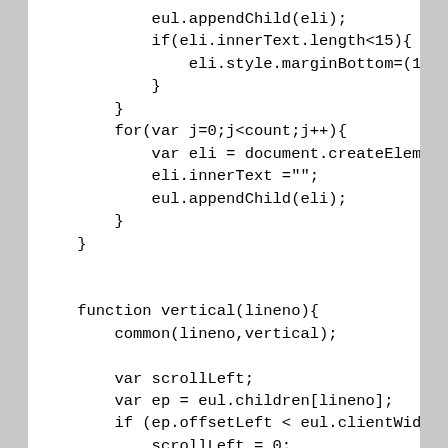eul.appendChild(eli);
            if(eli.innerText.length<15){
                eli.style.marginBottom=(15
            }
        }
        for(var j=0;j<count;j++){
            var eli = document.createEleme
            eli.innerText ="";
            eul.appendChild(eli);
        }
    }


    function vertical(lineno){
        common(lineno,vertical);

        var scrollLeft;
        var ep = eul.children[lineno];
        if (ep.offsetLeft < eul.clientWidt
            scrollLeft = 0;